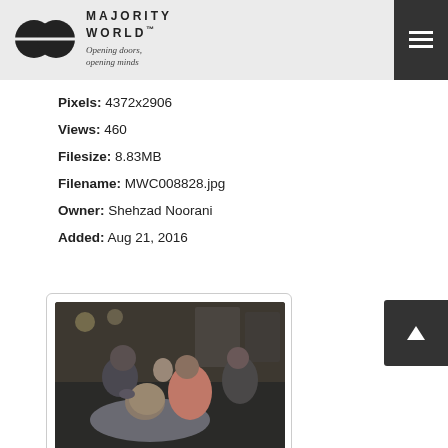MAJORITY WORLD™ Opening doors, opening minds
Pixels: 4372x2906
Views: 460
Filesize: 8.83MB
Filename: MWC008828.jpg
Owner: Shehzad Noorani
Added: Aug 21, 2016
[Figure (photo): Barber shop scene showing a barber trimming/shaving a customer's beard while other people are visible in the background in what appears to be a busy barbershop.]